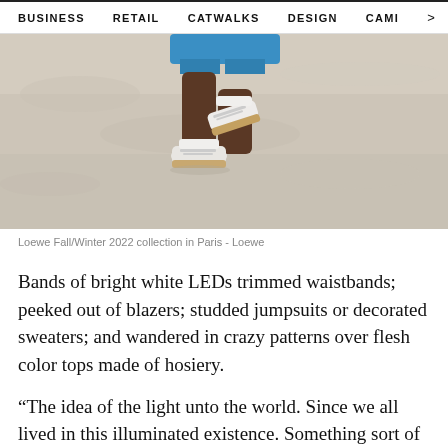BUSINESS   RETAIL   CATWALKS   DESIGN   CAMI  >
[Figure (photo): Close-up photo of a person walking on sand wearing white sneakers with gum soles and blue shorts, Loewe Fall/Winter 2022 collection in Paris]
Loewe Fall/Winter 2022 collection in Paris - Loewe
Bands of bright white LEDs trimmed waistbands; peeked out of blazers; studded jumpsuits or decorated sweaters; and wandered in crazy patterns over flesh color tops made of hosiery.
“The idea of the light unto the world. Since we all lived in this illuminated existence. Something sort of